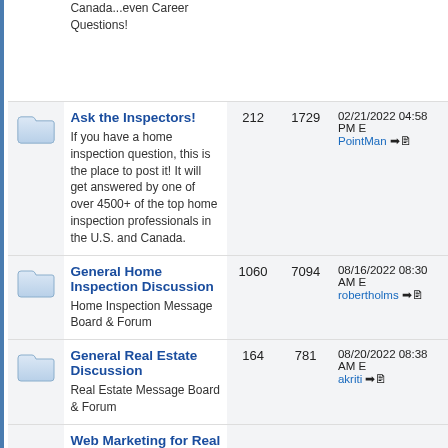|  | Forum | Topics | Posts | Last Post |
| --- | --- | --- | --- | --- |
| [folder] | Canada...even Career Questions! |  |  |  |
| [folder] | Ask the Inspectors!
If you have a home inspection question, this is the place to post it! It will get answered by one of over 4500+ of the top home inspection professionals in the U.S. and Canada. | 212 | 1729 | 02/21/2022 04:58 PM
PointMan → |
| [folder] | General Home Inspection Discussion
Home Inspection Message Board & Forum | 1060 | 7094 | 08/16/2022 08:30 AM
robertholms → |
| [folder] | General Real Estate Discussion
Real Estate Message Board & Forum | 164 | 781 | 08/20/2022 08:38 AM
akriti → |
| [folder] | Web Marketing for Real Estate Professionals and |  |  |  |